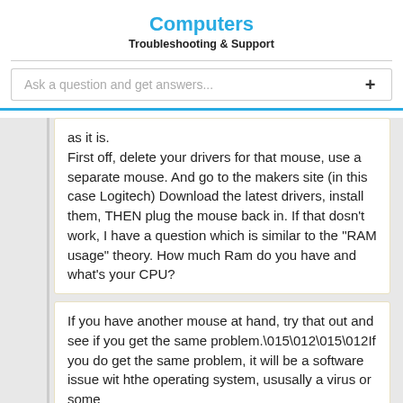Computers
Troubleshooting & Support
Ask a question and get answers...
as it is.

First off, delete your drivers for that mouse, use a separate mouse. And go to the makers site (in this case Logitech) Download the latest drivers, install them, THEN plug the mouse back in. If that dosn't work,  I have a question which is similar to the "RAM usage" theory. How much Ram do you have and what's your CPU?
If you have another mouse at hand, try that out and see if you get the same problem.\015\012\015\012If you do get the same problem, it will be a software issue wit hthe operating system, ususally a virus or some